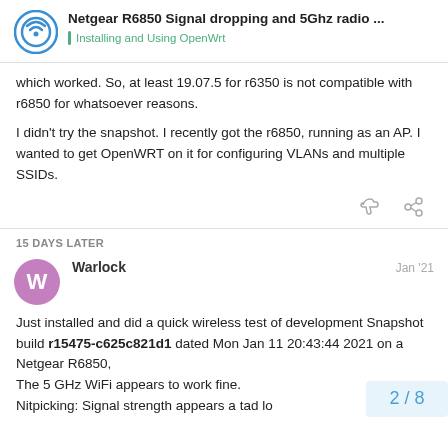Netgear R6850 Signal dropping and 5Ghz radio ... | Installing and Using OpenWrt
which worked. So, at least 19.07.5 for r6350 is not compatible with r6850 for whatsoever reasons.

I didn't try the snapshot. I recently got the r6850, running as an AP. I wanted to get OpenWRT on it for configuring VLANs and multiple SSIDs.
15 DAYS LATER
Warlock  Jan '21
Just installed and did a quick wireless test of development Snapshot build r15475-c625c821d1 dated Mon Jan 11 20:43:44 2021 on a Netgear R6850,
The 5 GHz WiFi appears to work fine.
Nitpicking: Signal strength appears a tad lo